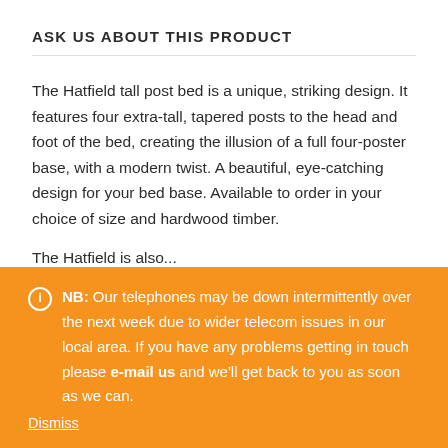ASK US ABOUT THIS PRODUCT
The Hatfield tall post bed is a unique, striking design. It features four extra-tall, tapered posts to the head and foot of the bed, creating the illusion of a full four-poster base, with a modern twist. A beautiful, eye-catching design for your bed base. Available to order in your choice of size and hardwood timber.
The Hatfield is also...
NB: Our telephones may be down intermittently over the next week due to wider telecom issues in our local area. If you have any problems getting in touch please e-mail us and we'll get back to you as soon as we can.
Dismiss